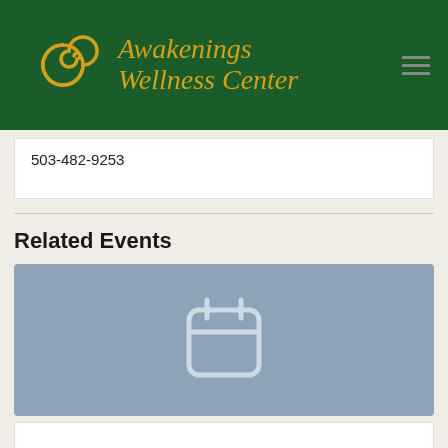Awakenings Wellness Center
503-482-9253
Related Events
[Figure (illustration): Calendar icon placeholder image on a steel-blue background, representing an event with no image.]
[Figure (illustration): Blank white card placeholder for a second related event.]